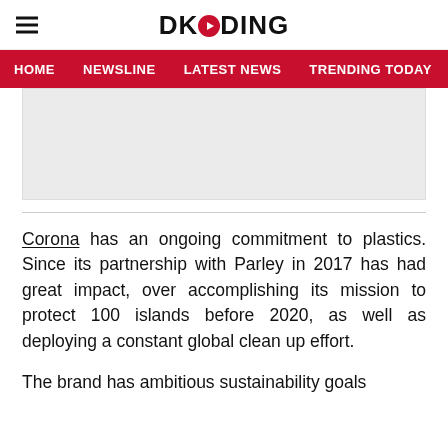DKODING
HOME   NEWSLINE   LATEST NEWS   TRENDING TODAY   ENT
[Figure (other): Advertisement placeholder block, light gray background]
Corona has an ongoing commitment to plastics. Since its partnership with Parley in 2017 has had great impact, over accomplishing its mission to protect 100 islands before 2020, as well as deploying a constant global clean up effort.
The brand has ambitious sustainability goals